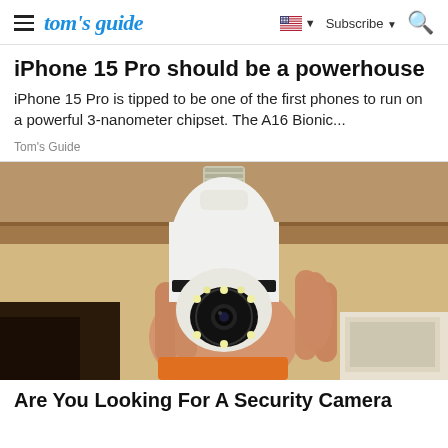tom's guide — Subscribe
iPhone 15 Pro should be a powerhouse
iPhone 15 Pro is tipped to be one of the first phones to run on a powerful 3-nanometer chipset. The A16 Bionic...
Tom's Guide
[Figure (photo): A hand holding a white security camera shaped like a light bulb, with a screw-type base at top and a rotating camera head with LED ring at the bottom. Background shows shelving and boxes.]
Are You Looking For A Security Camera